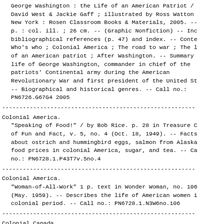George Washington : the Life of an American Patriot / David West & Jackie Gaff ; illustrated by Ross Watton. New York : Rosen Classroom Books & Materials, 2005. -- p. : col. ill. ; 26 cm. -- (Graphic Nonfiction) -- Includes bibliographical references (p. 47) and index. -- Contents: Who's who ; Colonial America ; The road to war ; The life of an American patriot ; After Washington. -- Summary: life of George Washington, commander in chief of the patriots' Continental army during the American Revolutionary War and first president of the United States. -- Biographical and historical genres. -- Call no.: PN6726.G67G4 2005
Colonial America.
"Speaking of Food!" / by Bob Rice. p. 28 in Treasure Chest of Fun and Fact, v. 5, no. 4 (Oct. 18, 1949). -- Facts about ostrich and hummingbird eggs, salmon from Alaska, food prices in colonial America, sugar, and tea. -- Call no.: PN6728.1.P43T7v.5no.4
Colonial America.
"Woman-of-All-Work" 1 p. text in Wonder Woman, no. 106 (May. 1959). -- Describes the life of American women in colonial period. -- Call no.: PN6728.1.N3W6no.106
Colonial Canada.
Neige sur le Lac / dessin et couleur, Igor David ; scénario, Tiburce Oger. -- Genève : Humanoïdes Associés, 1999. -- 48 p. : col. ill. ; 32 cm. -- (9 Têtes ; 2) -- Takes place in an alternate history of colonial Canada.